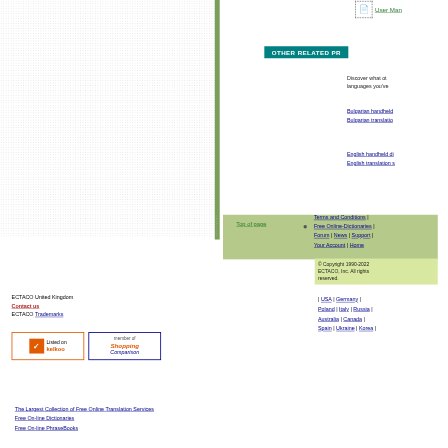User Manual
OTHER RELATED PR
Discover what other languages you've
Bulgarian handheld
Bulgarian translatio
English handheld di
English translation s
Top of page
Terms and Conditions | Free Online-Dictionaries | Forum | News | Support | Your Account | Home
© Copyright 1990-2022 ECTACO, Inc. All rights reserved.
| USA | Germany | Poland | Italy | Russia | Australia | Canada | Spain | Ukraine | Korea |
ECTACO United Kingdom
Contact us
ECTACO Trademarks
[Figure (logo): Listed on kelkoo badge]
[Figure (logo): Member of Shopping Comparison badge]
The Largest Collection of Free Online Translation Services
Free On-line Dictionaries
Free On-line PhraseBooks